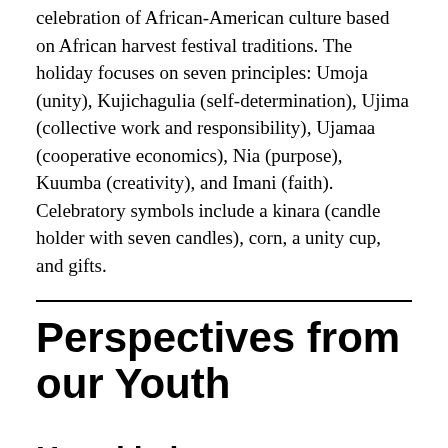celebration of African-American culture based on African harvest festival traditions. The holiday focuses on seven principles: Umoja (unity), Kujichagulia (self-determination), Ujima (collective work and responsibility), Ujamaa (cooperative economics), Nia (purpose), Kuumba (creativity), and Imani (faith). Celebratory symbols include a kinara (candle holder with seven candles), corn, a unity cup, and gifts.
Perspectives from our Youth
Hanukkah
Jociah, Oak Creek YCF: